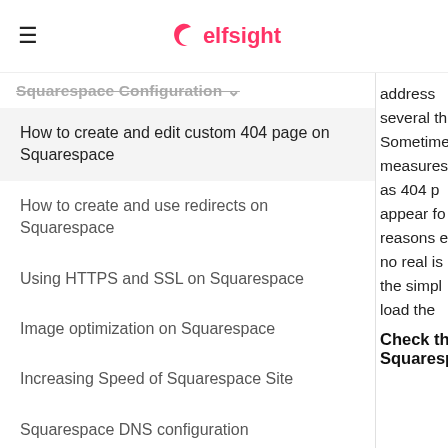≡ elfsight
Squarespace Configuration
How to create and edit custom 404 page on Squarespace
How to create and use redirects on Squarespace
Using HTTPS and SSL on Squarespace
Image optimization on Squarespace
Increasing Speed of Squarespace Site
Squarespace DNS configuration
address several th Sometimes measures as 404 p appear fo reasons e no real is the simp load the
Check th Squaresp